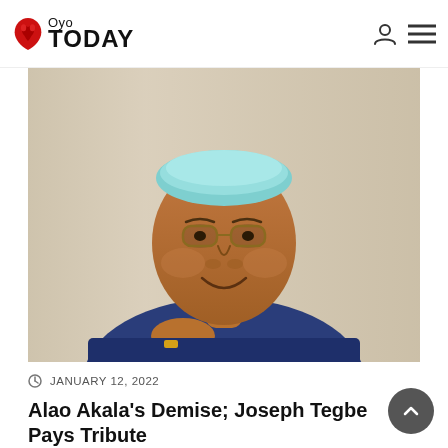Oyo Today
[Figure (photo): Portrait photo of a middle-aged African man wearing a light blue/teal traditional cap and a blue agbada/suit, smiling, with a curtained background.]
JANUARY 12, 2022
Alao Akala's Demise; Joseph Tegbe Pays Tribute